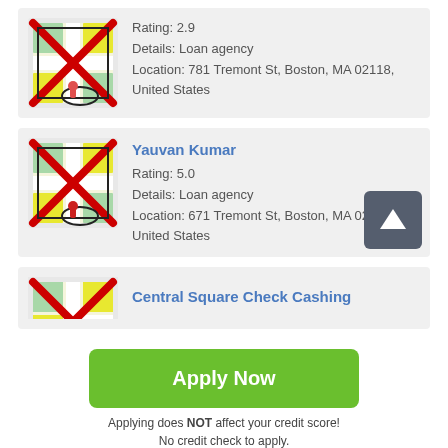[Figure (screenshot): Map thumbnail with red X overlay and location pin icon, for first listing]
Rating: 2.9
Details: Loan agency
Location: 781 Tremont St, Boston, MA 02118, United States
[Figure (screenshot): Map thumbnail with red X overlay and location pin icon, for Yauvan Kumar listing]
Yauvan Kumar
Rating: 5.0
Details: Loan agency
Location: 671 Tremont St, Boston, MA 02118, United States
[Figure (screenshot): Map thumbnail with partial red X overlay for Central Square Check Cashing listing]
Central Square Check Cashing
Apply Now
Applying does NOT affect your credit score!
No credit check to apply.